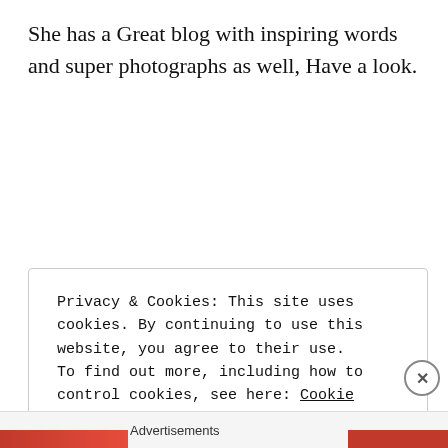She has a Great blog with inspiring words and super photographs as well, Have a look.
Privacy & Cookies: This site uses cookies. By continuing to use this website, you agree to their use.
To find out more, including how to control cookies, see here: Cookie Policy
Close and accept
Advertisements